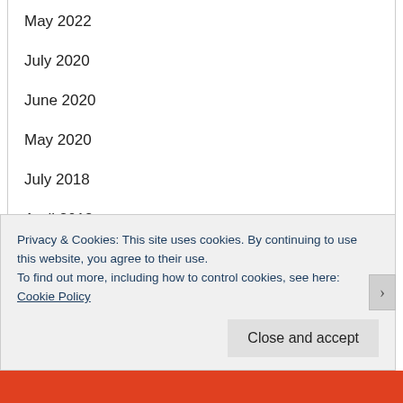May 2022
July 2020
June 2020
May 2020
July 2018
April 2018
December 2016
November 2016
October 2016
Privacy & Cookies: This site uses cookies. By continuing to use this website, you agree to their use. To find out more, including how to control cookies, see here: Cookie Policy
Close and accept